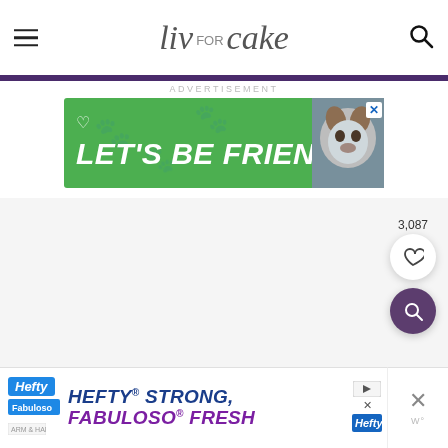liv for cake
ADVERTISEMENT
[Figure (screenshot): Green advertisement banner reading LET'S BE FRIENDS with a husky dog image on the right]
3,087
[Figure (other): White circular favorite/heart button with 3,087 count and purple circular search button below]
[Figure (screenshot): Bottom advertisement banner: Hefty STRONG, FABULOSO FRESH product ad]